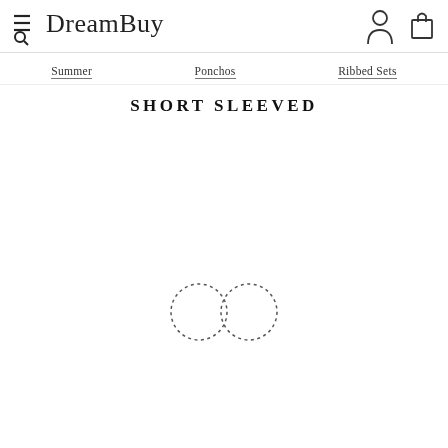DreamBuy
Summer
Ponchos
Ribbed Sets
SHORT SLEEVED
[Figure (illustration): Dotted infinity symbol / loading spinner made of two overlapping dotted circles forming a figure-eight shape]